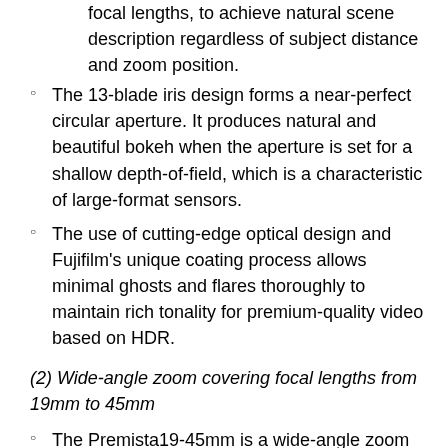focal lengths, to achieve natural scene description regardless of subject distance and zoom position.
The 13-blade iris design forms a near-perfect circular aperture. It produces natural and beautiful bokeh when the aperture is set for a shallow depth-of-field, which is a characteristic of large-format sensors.
The use of cutting-edge optical design and Fujifilm's unique coating process allows minimal ghosts and flares thoroughly to maintain rich tonality for premium-quality video based on HDR.
(2) Wide-angle zoom covering focal lengths from 19mm to 45mm
The Premista19-45mm is a wide-angle zoom